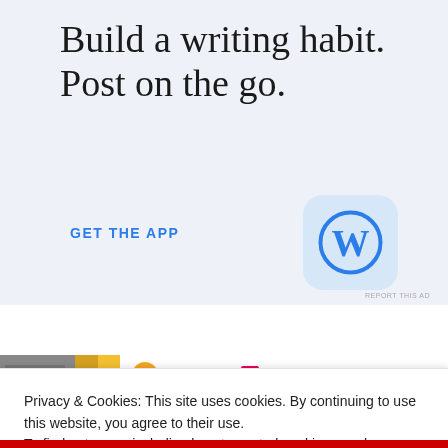Build a writing habit. Post on the go.
GET THE APP
[Figure (logo): WordPress app icon - blue W logo on light blue rounded square background]
REPORT THIS AD
[Figure (photo): ITB mice Travel banner strip with photo and logos]
Privacy & Cookies: This site uses cookies. By continuing to use this website, you agree to their use.
To find out more, including how to control cookies, see here: Cookie Policy
Close and accept